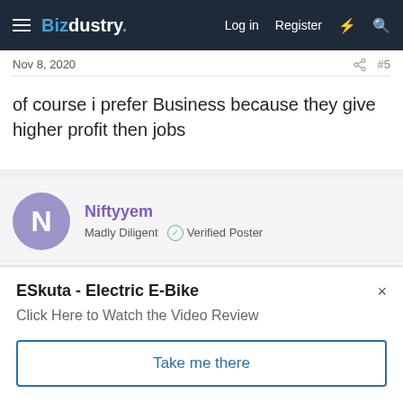Bizdustry — Log in  Register
Nov 8, 2020  #5
of course i prefer Business because they give higher profit then jobs
Niftyyem
Madly Diligent  Verified Poster
Nov 8, 2020  #6
Business is better for one's independence and it gets easier to
ESkuta - Electric E-Bike
Click Here to Watch the Video Review
Take me there